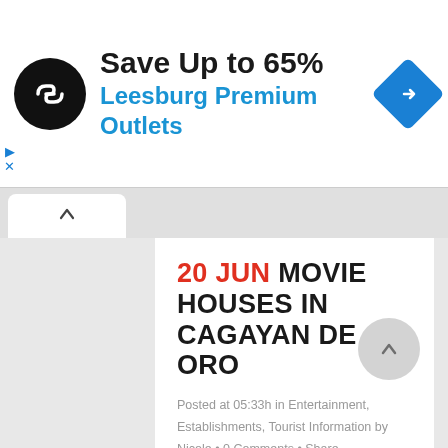[Figure (screenshot): Advertisement banner: logo (black circle with white infinite/link icon), text 'Save Up to 65%' and 'Leesburg Premium Outlets' in blue, and a blue navigation diamond icon on the right.]
20 JUN MOVIE HOUSES IN CAGAYAN DE ORO
Posted at 05:33h in Entertainment, Establishments, Tourist Information by Nicole • 0 Comments • Share
One of the best bonding moments we can do with our